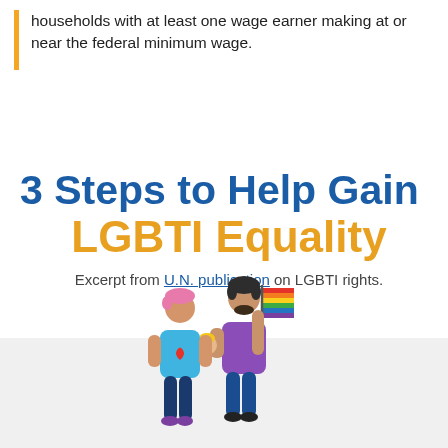households with at least one wage earner making at or near the federal minimum wage.
3 Steps to Help Gain LGBTI Equality
Excerpt from U.N. publication on LGBTI rights.
[Figure (illustration): Two male figures, one with pink hair in a light blue shirt with a rainbow heart, the other with dark hair in a purple shirt holding a baby and a rainbow flag, walking together.]